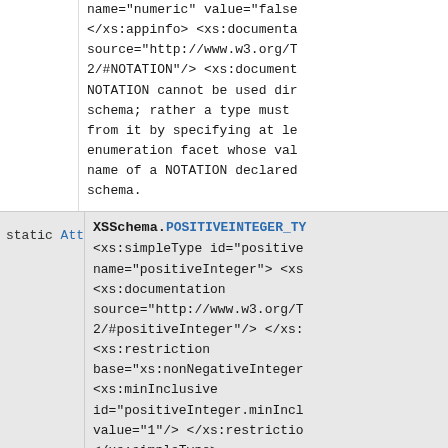name="numeric" value="false" </xs:appinfo> <xs:documenta source="http://www.w3.org/T 2/#NOTATION"/> <xs:document NOTATION cannot be used dir schema; rather a type must from it by specifying at le enumeration facet whose val name of a NOTATION declared schema.
static AttributeType XSSchema.POSITIVEINTEGER_TY <xs:simpleType id="positive name="positiveInteger"> <xs <xs:documentation source="http://www.w3.org/T 2/#positiveInteger"/> </xs: <xs:restriction base="xs:nonNegativeInteger <xs:minInclusive id="positiveInteger.minIncl value="1"/> </xs:restrictio </xs:simpleType>